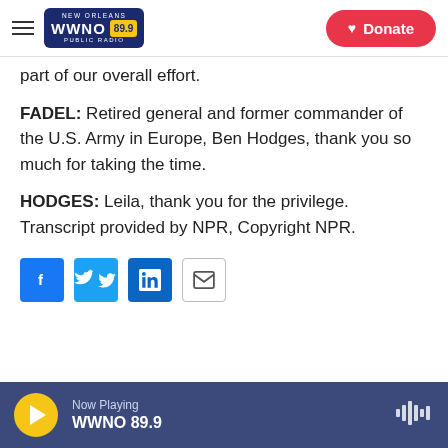WWNO 89.9 New Orleans Public Radio – Donate
part of our overall effort.
FADEL: Retired general and former commander of the U.S. Army in Europe, Ben Hodges, thank you so much for taking the time.
HODGES: Leila, thank you for the privilege. Transcript provided by NPR, Copyright NPR.
[Figure (other): Social sharing buttons: Facebook, Twitter, LinkedIn, Email]
Now Playing WWNO 89.9